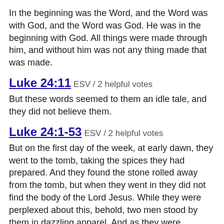In the beginning was the Word, and the Word was with God, and the Word was God. He was in the beginning with God. All things were made through him, and without him was not any thing made that was made.
Luke 24:11 ESV / 2 helpful votes
But these words seemed to them an idle tale, and they did not believe them.
Luke 24:1-53 ESV / 2 helpful votes
But on the first day of the week, at early dawn, they went to the tomb, taking the spices they had prepared. And they found the stone rolled away from the tomb, but when they went in they did not find the body of the Lord Jesus. While they were perplexed about this, behold, two men stood by them in dazzling apparel. And as they were frightened and bowed their faces to the ground, the men said to them, “Why do you seek the living among the dead? ...
Luke 22:24-26 ESV / 2 helpful votes
A dispute also arose among them, as to which of them